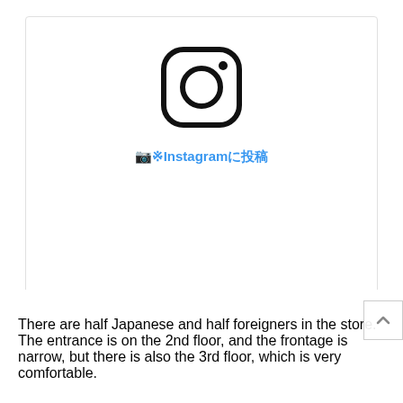[Figure (screenshot): Instagram embedded post placeholder card showing the Instagram camera logo, a link text in Japanese and English reading Instagram, heart and comment icons, two gray loading bars, and attribution text: HALU9(@tawawa009) – 2020年 1月23日6時07分PST]
There are half Japanese and half foreigners in the store. The entrance is on the 2nd floor, and the frontage is narrow, but there is also the 3rd floor, which is very comfortable.